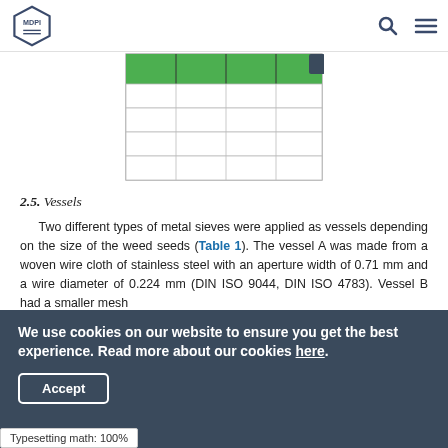MDPI
[Figure (table-as-image): Partial view of a table with green header row and white data rows, 4 columns visible]
2.5. Vessels
Two different types of metal sieves were applied as vessels depending on the size of the weed seeds (Table 1). The vessel A was made from a woven wire cloth of stainless steel with an aperture width of 0.71 mm and a wire diameter of 0.224 mm (DIN ISO 9044, DIN ISO 4783). Vessel B had a smaller mesh
We use cookies on our website to ensure you get the best experience. Read more about our cookies here.
Accept
Typesetting math: 100%